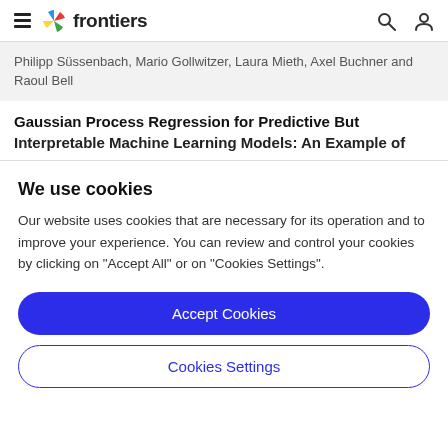frontiers
Philipp Süssenbach, Mario Gollwitzer, Laura Mieth, Axel Buchner and Raoul Bell
Gaussian Process Regression for Predictive But Interpretable Machine Learning Models: An Example of...
We use cookies
Our website uses cookies that are necessary for its operation and to improve your experience. You can review and control your cookies by clicking on "Accept All" or on "Cookies Settings".
Accept Cookies
Cookies Settings